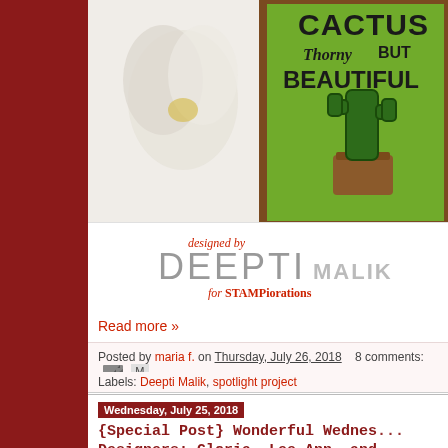[Figure (photo): Craft card photo showing a cactus illustration with text 'Cactus Thorny But Beautiful' on a green background with brown frame, alongside a white flower]
[Figure (logo): Designer logo reading 'designed by DEEPTI MALIK for STAMPiorations' in stylized typography]
Read more »
Posted by maria f. on Thursday, July 26, 2018   8 comments:
Labels: Deepti Malik, spotlight project
Wednesday, July 25, 2018
{Special Post} Wonderful Wednesday Designers: Gloria, Lee Ann, and...